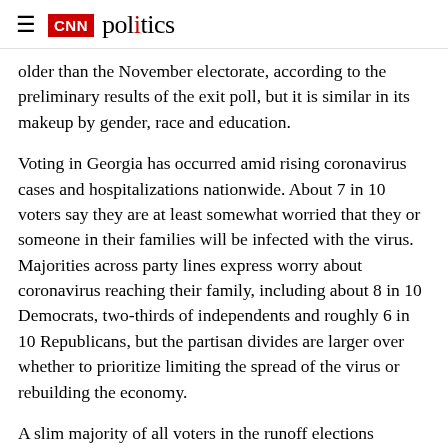CNN politics
older than the November electorate, according to the preliminary results of the exit poll, but it is similar in its makeup by gender, race and education.
Voting in Georgia has occurred amid rising coronavirus cases and hospitalizations nationwide. About 7 in 10 voters say they are at least somewhat worried that they or someone in their families will be infected with the virus. Majorities across party lines express worry about coronavirus reaching their family, including about 8 in 10 Democrats, two-thirds of independents and roughly 6 in 10 Republicans, but the partisan divides are larger over whether to prioritize limiting the spread of the virus or rebuilding the economy.
A slim majority of all voters in the runoff elections